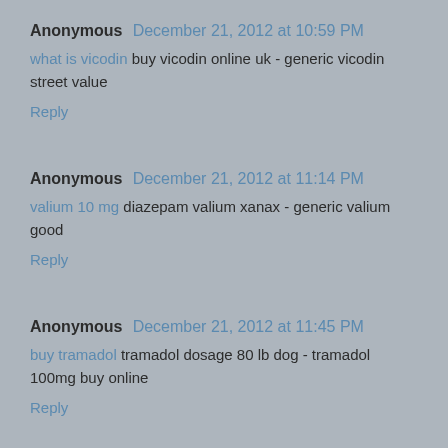Anonymous December 21, 2012 at 10:59 PM
what is vicodin buy vicodin online uk - generic vicodin street value
Reply
Anonymous December 21, 2012 at 11:14 PM
valium 10 mg diazepam valium xanax - generic valium good
Reply
Anonymous December 21, 2012 at 11:45 PM
buy tramadol tramadol dosage 80 lb dog - tramadol 100mg buy online
Reply